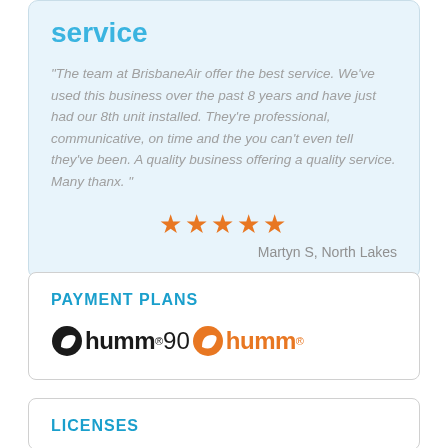service
"The team at BrisbaneAir offer the best service. We've used this business over the past 8 years and have just had our 8th unit installed. They're professional, communicative, on time and the you can't even tell they've been. A quality business offering a quality service. Many thanx. "
★★★★★
Martyn S, North Lakes
PAYMENT PLANS
[Figure (logo): humm90 and humm payment logos side by side]
LICENSES